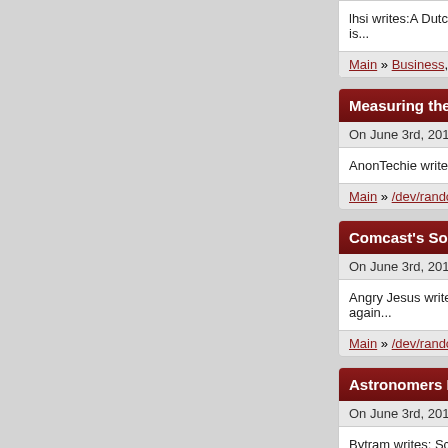lhsi writes:A Dutch company has launched is...
Main » Business, The Main Page
Measuring the Complexity of the La
On June 3rd, 2014 with 16 comments
AnonTechie writes:Wired.com has an intere
Main » /dev/random, The Main Page
Comcast's Solution for Network Lag
On June 3rd, 2014 with 22 comments
Angry Jesus writes:Comcast's been irking a again...
Main » /dev/random, The Main Page
Astronomers Find a New Type of Pla
On June 3rd, 2014 with 13 comments
Bytram writes: ScienceDaily reports that As